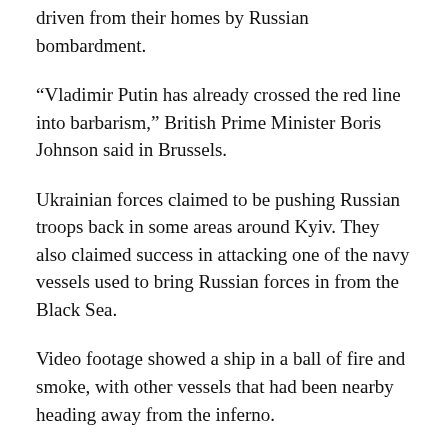driven from their homes by Russian bombardment.
“Vladimir Putin has already crossed the red line into barbarism,” British Prime Minister Boris Johnson said in Brussels.
Ukrainian forces claimed to be pushing Russian troops back in some areas around Kyiv. They also claimed success in attacking one of the navy vessels used to bring Russian forces in from the Black Sea.
Video footage showed a ship in a ball of fire and smoke, with other vessels that had been nearby heading away from the inferno.
– NATO reinforces eastern flank –
Zelensky wants NATO to help Ukraine go on